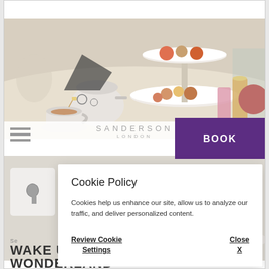[Figure (screenshot): Screenshot of Sanderson London hotel website showing afternoon tea spread with tiered cake stand, teacups, and colorful drinks. Navigation bar with hamburger menu, Sanderson London logo, and purple BOOK button visible. Cookie Policy popup overlay in the foreground.]
Cookie Policy
Cookies help us enhance our site, allow us to analyze our traffic, and deliver personalized content.
Review Cookie Settings
Close X
Se
WAKE UP IN WONDERLAND